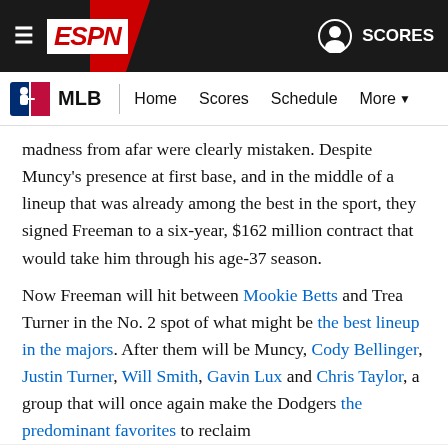ESPN navigation bar with hamburger menu, ESPN logo, and SCORES button
MLB | Home   Scores   Schedule   More
madness from afar were clearly mistaken. Despite Muncy's presence at first base, and in the middle of a lineup that was already among the best in the sport, they signed Freeman to a six-year, $162 million contract that would take him through his age-37 season.
Now Freeman will hit between Mookie Betts and Trea Turner in the No. 2 spot of what might be the best lineup in the majors. After them will be Muncy, Cody Bellinger, Justin Turner, Will Smith, Gavin Lux and Chris Taylor, a group that will once again make the Dodgers the predominant favorites to reclaim
Terms of Use   Privacy Policy   Your California Privacy Rights   Children's Online Privacy Policy   Interest-Based Ads   About Nielsen Measurement   Do Not Sell My Info   Contact Us   Disney Ad Sales Site   Work for ESPN   Copyright: © ESPN Enterprises, Inc. All rights reserved.